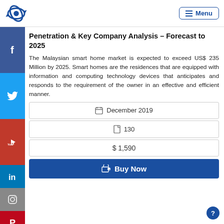Menu
Penetration & Key Company Analysis – Forecast to 2025
The Malaysian smart home market is expected to exceed US$ 235 Million by 2025. Smart homes are the residences that are equipped with information and computing technology devices that anticipates and responds to the requirement of the owner in an effective and efficient manner.
December 2019
130
$ 1,590
Buy Now